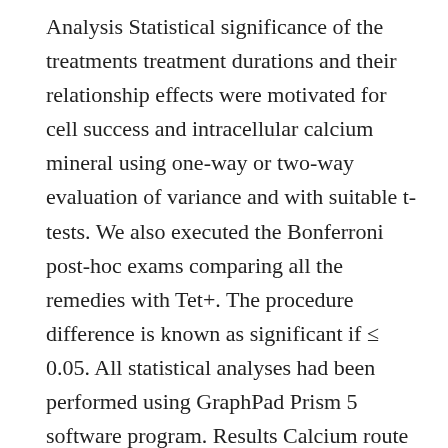Analysis Statistical significance of the treatments treatment durations and their relationship effects were motivated for cell success and intracellular calcium mineral using one-way or two-way evaluation of variance and with suitable t-tests. We also executed the Bonferroni post-hoc exams comparing all the remedies with Tet+. The procedure difference is known as significant if ≤ 0.05. All statistical analyses had been performed using GraphPad Prism 5 software program. Results Calcium route blockers (CCBs) protect MC65 cells from loss of life Cell success in Tet? treatment was considerably (and the consequences of isradipine is certainly downstream of Aβ oligomer development. Isradipine is certainly bioavailable to the mind Finally to look for the human brain availability and tolerability AMG 900 isradipine (3 μg/g/time; 60-day discharge) was subcutaneously implemented to 3×Tg-AD mice.